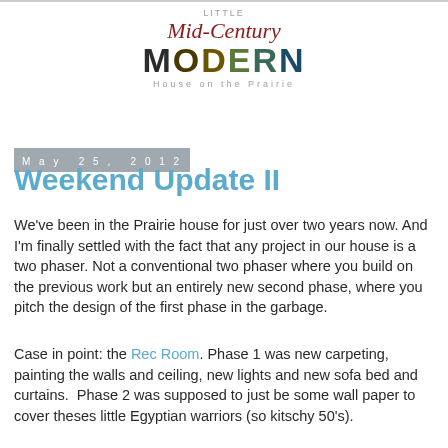[Figure (logo): Little Mid-Century Modern House on the Prairie blog logo with stylized text]
May 25, 2012
Weekend Update II
We've been in the Prairie house for just over two years now. And I'm finally settled with the fact that any project in our house is a two phaser. Not a conventional two phaser where you build on the previous work but an entirely new second phase, where you pitch the design of the first phase in the garbage.
Case in point: the Rec Room. Phase 1 was new carpeting, painting the walls and ceiling, new lights and new sofa bed and curtains. Phase 2 was supposed to just be some wall paper to cover theses little Egyptian warriors (so kitschy 50's).